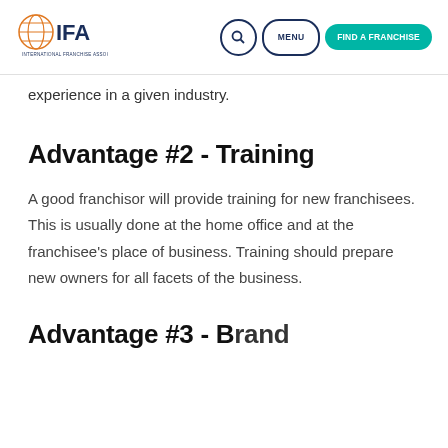IFA - International Franchise Association | MENU | FIND A FRANCHISE
experience in a given industry.
Advantage #2 - Training
A good franchisor will provide training for new franchisees. This is usually done at the home office and at the franchisee's place of business. Training should prepare new owners for all facets of the business.
Advantage #3 - Brand and...